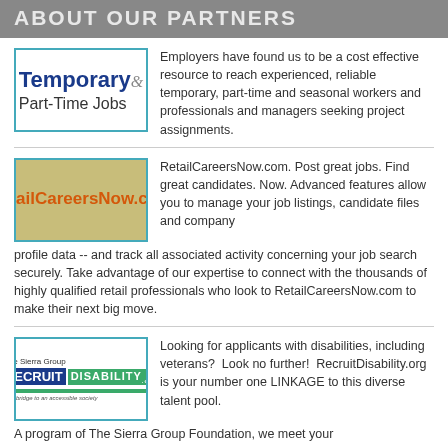ABOUT OUR PARTNERS
[Figure (logo): Temporary & Part-Time Jobs logo with blue bold text and gray ampersand]
Employers have found us to be a cost effective resource to reach experienced, reliable temporary, part-time and seasonal workers and professionals and managers seeking project assignments.
[Figure (logo): RetailCareersNow.com logo in orange on gold/olive background]
RetailCareersNow.com. Post great jobs. Find great candidates. Now. Advanced features allow you to manage your job listings, candidate files and company profile data -- and track all associated activity concerning your job search securely. Take advantage of our expertise to connect with the thousands of highly qualified retail professionals who look to RetailCareersNow.com to make their next big move.
[Figure (logo): The Sierra Group RecruitDisability.org logo with blue RECRUIT and green DISABILITY text]
Looking for applicants with disabilities, including veterans?  Look no further!  RecruitDisability.org is your number one LINKAGE to this diverse talent pool. A program of The Sierra Group Foundation, we meet your